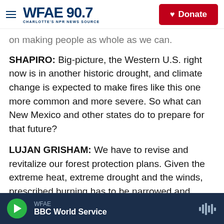WFAE 90.7 — Charlotte's NPR News Source | Donate
on making people as whole as we can.
SHAPIRO: Big-picture, the Western U.S. right now is in another historic drought, and climate change is expected to make fires like this one more common and more severe. So what can New Mexico and other states do to prepare for that future?
LUJAN GRISHAM: We have to revise and revitalize our forest protection plans. Given the extreme heat, extreme drought and the winds, prescribed burning has to be narrowed and refined in a meaningful way. Getting fuel out of the forest, trimming trees and then taking them out. We have this sort of
WFAE — BBC World Service